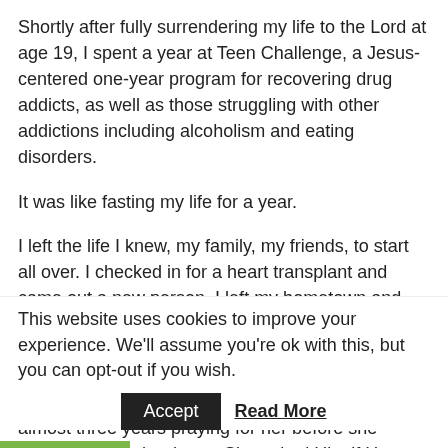Shortly after fully surrendering my life to the Lord at age 19, I spent a year at Teen Challenge, a Jesus-centered one-year program for recovering drug addicts, as well as those struggling with other addictions including alcoholism and eating disorders.
It was like fasting my life for a year.
I left the life I knew, my family, my friends, to start all over. I checked in for a heart transplant and came out a new person. I left my hometown and had cut off pretty much all of my friends. I asked the Lord for two, if I could carry them in my heart until they knew Him. One was my very best friend from high school, a girl I introduced to drugs. I spent almost three years praying for her before she asked Jesus in her heart. She asked Him if He was
This website uses cookies to improve your experience. We'll assume you're ok with this, but you can opt-out if you wish.
Accept   Read More